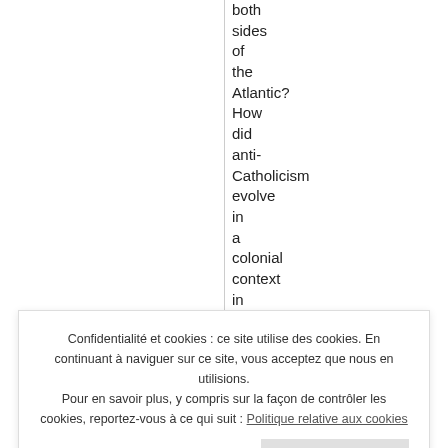both sides of the Atlantic? How did anti-Catholicism evolve in a colonial context in which the Established Churches of
Confidentialité et cookies : ce site utilise des cookies. En continuant à naviguer sur ce site, vous acceptez que nous en utilisions. Pour en savoir plus, y compris sur la façon de contrôler les cookies, reportez-vous à ce qui suit : Politique relative aux cookies
anti-Catholicism